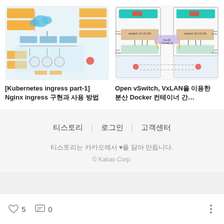[Figure (screenshot): Kubernetes ingress architecture diagram with orange and teal colored boxes, arrows and network topology]
[Figure (network-graph): Open vSwitch VxLAN distributed Docker container network diagram with containers on two hosts connected via VxLAN tunnel]
[Kubernetes ingress part-1] Nginx ingress 구현과 사용 방법
Open vSwitch, VxLAN을 이용한 분산 Docker 컨테이너 간…
티스토리 | 로그인 | 고객센터
티스토리는 카카오에서 ♥을 담아 만듭니다.
© Kakao Corp.
5  0